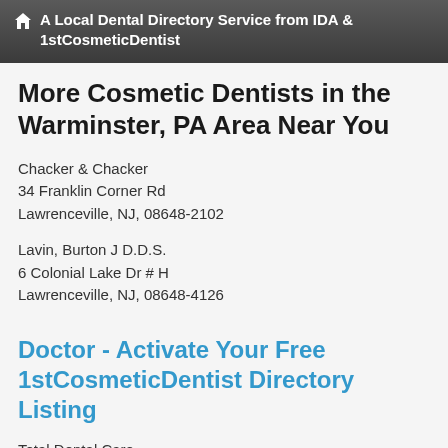A Local Dental Directory Service from IDA & 1stCosmeticDentist
More Cosmetic Dentists in the Warminster, PA Area Near You
Chacker & Chacker
34 Franklin Corner Rd
Lawrenceville, NJ, 08648-2102
Lavin, Burton J D.D.S.
6 Colonial Lake Dr # H
Lawrenceville, NJ, 08648-4126
Doctor - Activate Your Free 1stCosmeticDentist Directory Listing
Total Dental Care
2288 Us Highway 1
Lawrenceville, NJ, 08648-4454
Mesina, Vivien D.D.S.
3100 Princeton Pike # 2
Lawrenceville, NJ, 08648-2289